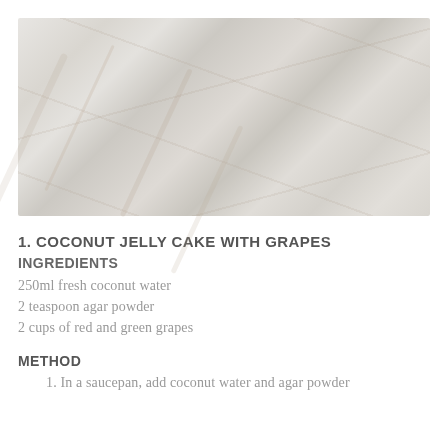[Figure (photo): Close-up photo of a white marble or light stone surface with subtle grey veining, used as a decorative background image for a recipe page.]
1. COCONUT JELLY CAKE WITH GRAPES
INGREDIENTS
250ml fresh coconut water
2 teaspoon agar powder
2 cups of red and green grapes
METHOD
1. In a saucepan, add coconut water and agar powder